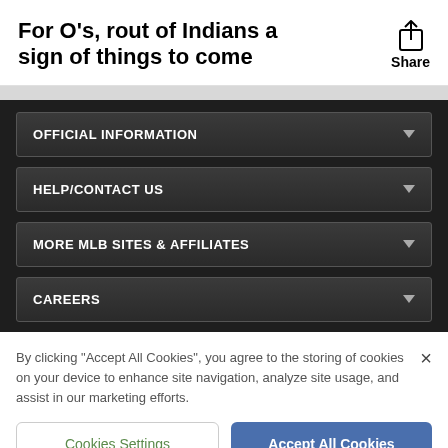For O’s, rout of Indians a sign of things to come
OFFICIAL INFORMATION
HELP/CONTACT US
MORE MLB SITES & AFFILIATES
CAREERS
By clicking “Accept All Cookies”, you agree to the storing of cookies on your device to enhance site navigation, analyze site usage, and assist in our marketing efforts.
Cookies Settings
Accept All Cookies